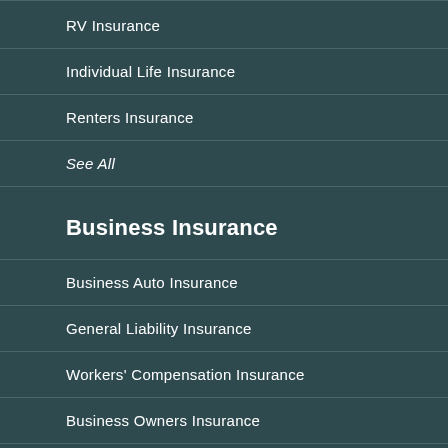RV Insurance
Individual Life Insurance
Renters Insurance
See All
Business Insurance
Business Auto Insurance
General Liability Insurance
Workers' Compensation Insurance
Business Owners Insurance
Commercial Property Insurance